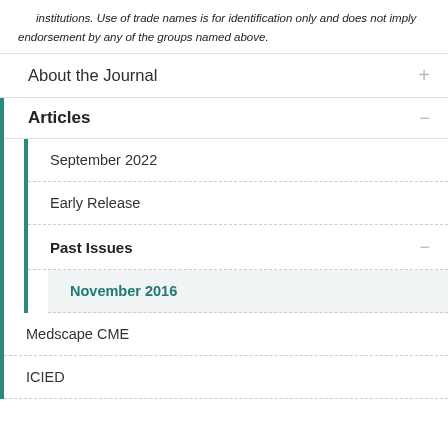institutions. Use of trade names is for identification only and does not imply endorsement by any of the groups named above.
About the Journal
Articles
September 2022
Early Release
Past Issues
November 2016
Medscape CME
ICIED